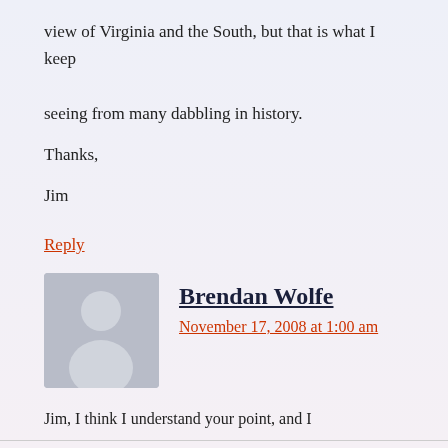view of Virginia and the South, but that is what I keep seeing from many dabbling in history.
Thanks,
Jim
Reply
[Figure (illustration): Grey avatar/placeholder silhouette of a person]
Brendan Wolfe
November 17, 2008 at 1:00 am
Jim, I think I understand your point, and I